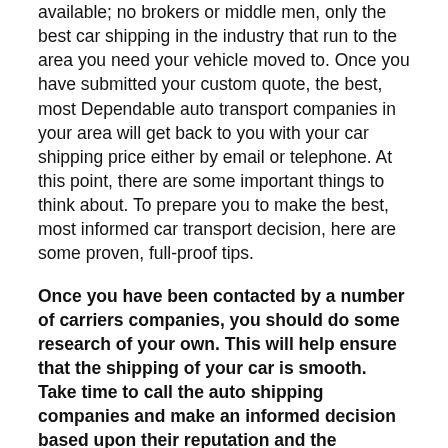available; no brokers or middle men, only the best car shipping in the industry that run to the area you need your vehicle moved to. Once you have submitted your custom quote, the best, most Dependable auto transport companies in your area will get back to you with your car shipping price either by email or telephone. At this point, there are some important things to think about. To prepare you to make the best, most informed car transport decision, here are some proven, full-proof tips.
Once you have been contacted by a number of carriers companies, you should do some research of your own. This will help ensure that the shipping of your car is smooth. Take time to call the auto shipping companies and make an informed decision based upon their reputation and the customer service skills over the phone. Definitely “Google” their name and see what other customers say about their experience with the auto transport company.